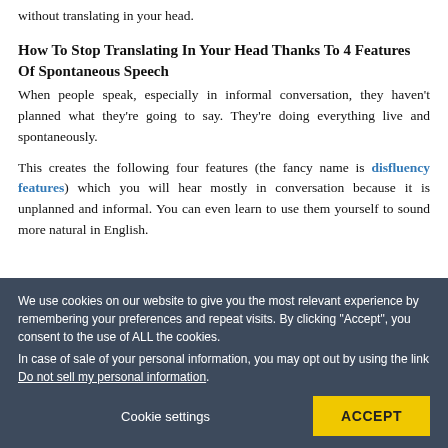without translating in your head.
How To Stop Translating In Your Head Thanks To 4 Features Of Spontaneous Speech
When people speak, especially in informal conversation, they haven't planned what they're going to say. They're doing everything live and spontaneously.

This creates the following four features (the fancy name is disfluency features) which you will hear mostly in conversation because it is unplanned and informal. You can even learn to use them yourself to sound more natural in English.
We use cookies on our website to give you the most relevant experience by remembering your preferences and repeat visits. By clicking “Accept”, you consent to the use of ALL the cookies.
In case of sale of your personal information, you may opt out by using the link Do not sell my personal information.